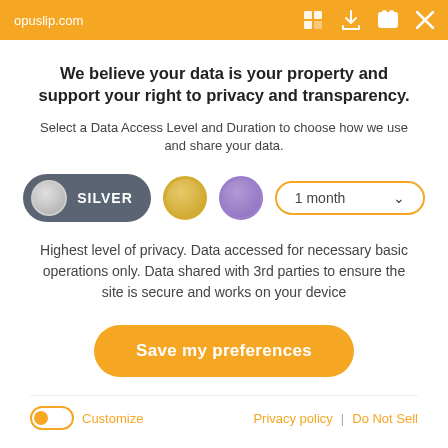opuslip.com
We believe your data is your property and support your right to privacy and transparency.
Select a Data Access Level and Duration to choose how we use and share your data.
[Figure (infographic): Privacy level selector with Silver pill button selected, gold and purple circle options, and 1 month duration dropdown]
Highest level of privacy. Data accessed for necessary basic operations only. Data shared with 3rd parties to ensure the site is secure and works on your device
Save my preferences
Customize | Privacy policy | Do Not Sell